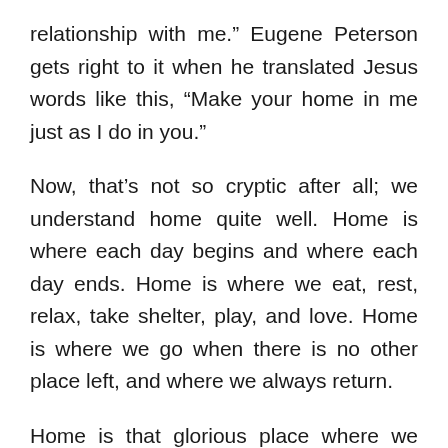relationship with me.” Eugene Peterson gets right to it when he translated Jesus words like this, “Make your home in me just as I do in you.”
Now, that’s not so cryptic after all; we understand home quite well. Home is where each day begins and where each day ends. Home is where we eat, rest, relax, take shelter, play, and love. Home is where we go when there is no other place left, and where we always return.
Home is that glorious place where we can